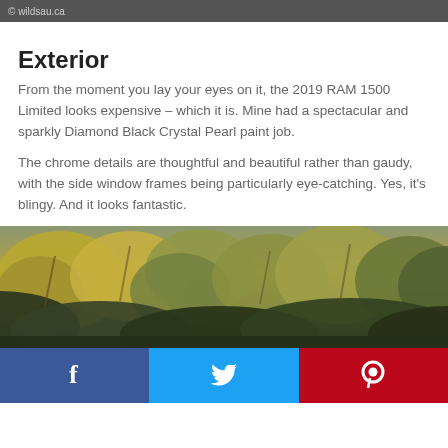© wildsau.ca
Exterior
From the moment you lay your eyes on it, the 2019 RAM 1500 Limited looks expensive – which it is. Mine had a spectacular and sparkly Diamond Black Crystal Pearl paint job.
The chrome details are thoughtful and beautiful rather than gaudy, with the side window frames being particularly eye-catching. Yes, it's blingy. And it looks fantastic.
[Figure (photo): Outdoor autumn/fall foliage scene with trees showing yellow, orange, and green leaves against a dark background]
[Figure (infographic): Social share buttons: Facebook (blue), Twitter (cyan), Pinterest (red) with their respective icons]